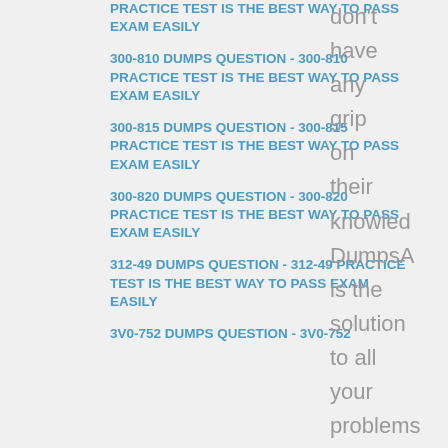PRACTICE TEST IS THE BEST WAY TO PASS EXAM EASILY
300-810 DUMPS QUESTION - 300-810 PRACTICE TEST IS THE BEST WAY TO PASS EXAM EASILY
300-815 DUMPS QUESTION - 300-815 PRACTICE TEST IS THE BEST WAY TO PASS EXAM EASILY
300-820 DUMPS QUESTION - 300-820 PRACTICE TEST IS THE BEST WAY TO PASS EXAM EASILY
312-49 DUMPS QUESTION - 312-49 PRACTICE TEST IS THE BEST WAY TO PASS EXAM EASILY
3V0-752 DUMPS QUESTION - 3V0-752
don't have any grip on their knowledg DumpsA is the solution to all your problems We provide you best and compreh